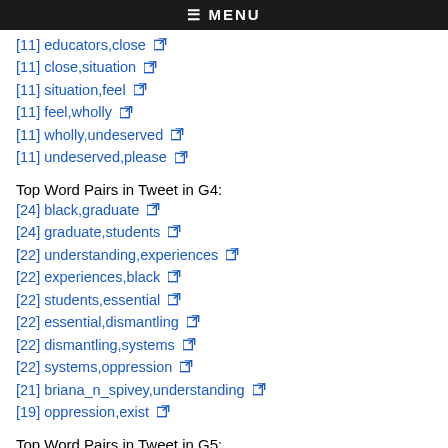≡ MENU
[11] educators,close
[11] close,situation
[11] situation,feel
[11] feel,wholly
[11] wholly,undeserved
[11] undeserved,please
Top Word Pairs in Tweet in G4:
[24] black,graduate
[24] graduate,students
[22] understanding,experiences
[22] experiences,black
[22] students,essential
[22] essential,dismantling
[22] dismantling,systems
[22] systems,oppression
[21] briana_n_spivey,understanding
[19] oppression,exist
Top Word Pairs in Tweet in G5:
[22] #graduate,#postdoc
[22] #postdoc,interested
[22] interested,academic
[22] academic,research
[22] research,teaching